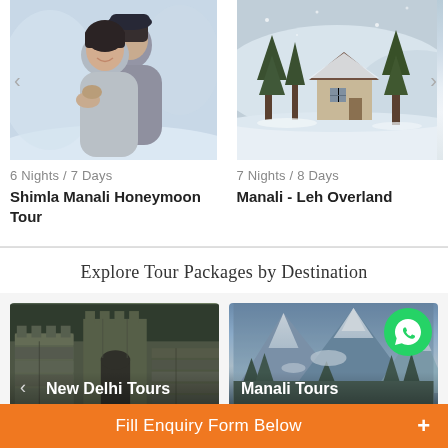[Figure (photo): Two women hugging and smiling in snowy winter setting, Shimla Manali tour card photo]
[Figure (photo): Snowy landscape with house and trees, Manali Leh tour card photo]
6 Nights / 7 Days
Shimla Manali Honeymoon Tour
7 Nights / 8 Days
Manali - Leh Overland
Explore Tour Packages by Destination
[Figure (photo): Stone ruins / fort ruins at New Delhi Tours destination tile]
[Figure (photo): Snow-capped mountains for Manali Tours destination tile]
Fill Enquiry Form Below +